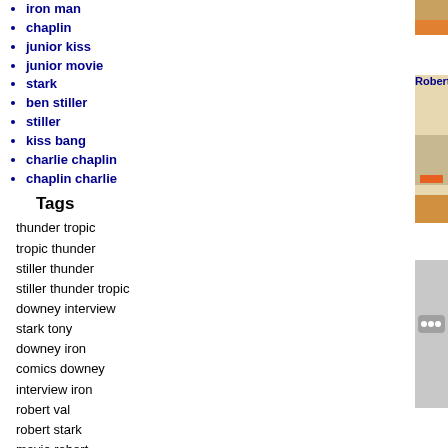iron man
chaplin
junior kiss
junior movie
stark
ben stiller
stiller
kiss bang
charlie chaplin
chaplin charlie
Tags
thunder tropic
tropic thunder
stiller thunder
stiller thunder tropic
downey interview
stark tony
downey iron
comics downey
interview iron
robert val
robert stark
movie robert
marvel
man robert
robert stiller
downey film
charlie downey
[Figure (screenshot): Video thumbnail showing two men in a TV studio talk show setting, labeled 'EARLY WITH THE STARS']
Robert Dow... downey, early, l...
[Figure (screenshot): Video thumbnail placeholder with gray background and three white dots icon]
Iron Man R... Trailer downey, filmma... trailer
[Figure (screenshot): Video thumbnail showing a man holding a phone to his ear in dark setting]
Robert Dow... 2004, downey, ...
[Figure (screenshot): Video thumbnail showing a man singing or speaking with mouth open]
Robert Dow... downey, robert...